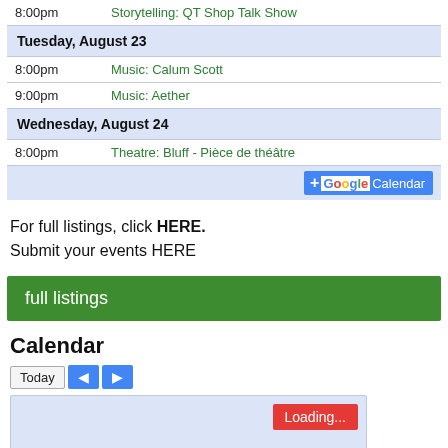| Time | Event |
| --- | --- |
| 8:00pm | Storytelling: QT Shop Talk Show |
| Tuesday, August 23 |  |
| 8:00pm | Music: Calum Scott |
| 9:00pm | Music: Aether |
| Wednesday, August 24 |  |
| 8:00pm | Theatre: Bluff - Pièce de théâtre |
[Figure (other): Add to Google Calendar button]
For full listings, click HERE.
Submit your events HERE
full listings
Calendar
[Figure (screenshot): Calendar widget with Today, back, forward navigation buttons and a loading area showing a Loading... badge in red]